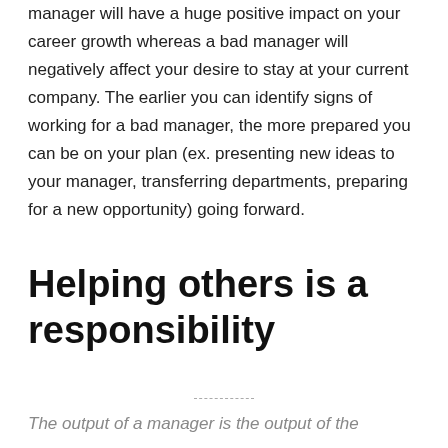manager will have a huge positive impact on your career growth whereas a bad manager will negatively affect your desire to stay at your current company. The earlier you can identify signs of working for a bad manager, the more prepared you can be on your plan (ex. presenting new ideas to your manager, transferring departments, preparing for a new opportunity) going forward.
Helping others is a responsibility
The output of a manager is the output of the